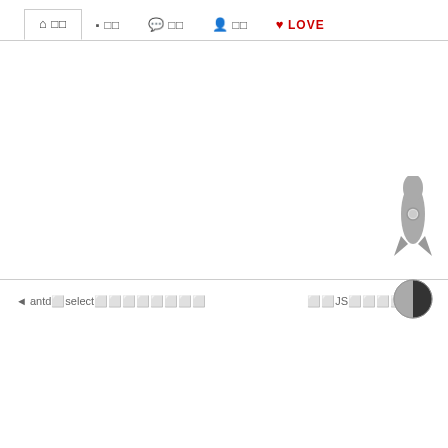🏠 □□  ■ □□  💬 □□  👤 □□  ❤ LOVE
◄ antd⬜select⬜⬜⬜⬜⬜⬜⬜⬜
⬜⬜JS⬜⬜⬜⬜⬜ ►